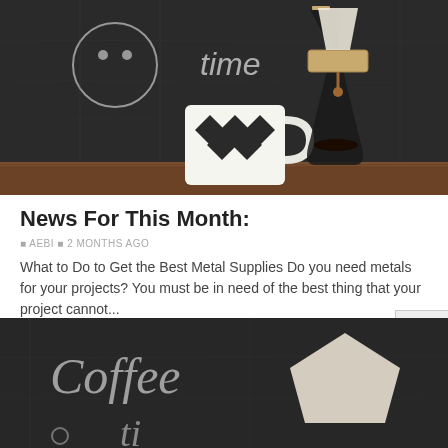[Figure (photo): Photo of a black and white diamond-pattern coffee mug and a Chemex glass coffee maker on a wooden shelf against a dark chalkboard background with handwritten text including 'time']
News For This Month:
AEBI  2 MONTHS AGO
What to Do to Get the Best Metal Supplies Do you need metals for your projects? You must be in need of the best thing that your project cannot...
Read More
[Figure (photo): Photo of a dark chalkboard background with handwritten text 'coffee' and a paper coffee filter visible, partially cropped at bottom of page]